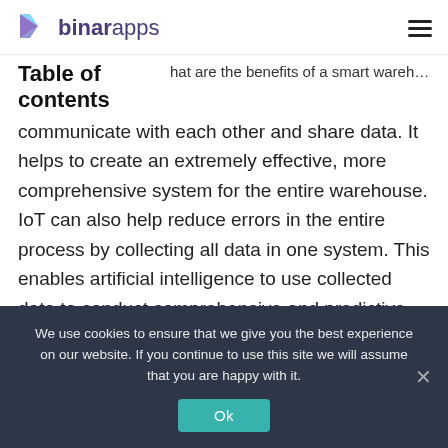binarapps
Table of contents
hat are the benefits of a smart warehouse
communicate with each other and share data. It helps to create an extremely effective, more comprehensive system for the entire warehouse. IoT can also help reduce errors in the entire process by collecting all data in one system. This enables artificial intelligence to use collected data to conduct comprehensive and predictive
We use cookies to ensure that we give you the best experience on our website. If you continue to use this site we will assume that you are happy with it.